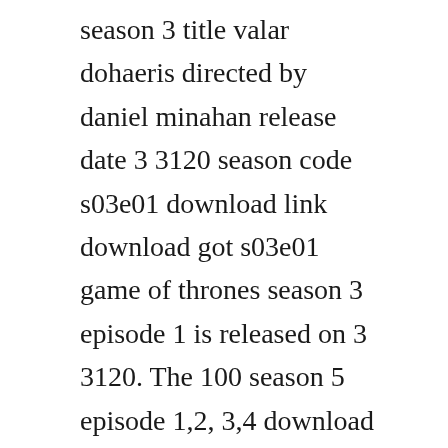season 3 title valar dohaeris directed by daniel minahan release date 3 3120 season code s03e01 download link download got s03e01 game of thrones season 3 episode 1 is released on 3 3120. The 100 season 5 episode 1,2, 3,4 download the 100 season 5 episode 3 premiere date. Get checkout sounds from soundsnap, the leading sound library for unlimited sfx downloads. When their peaceful existence is shattered, they are sent on an odyssey that will finally reveal the horrifying truth behind earths mysterious occupiers and